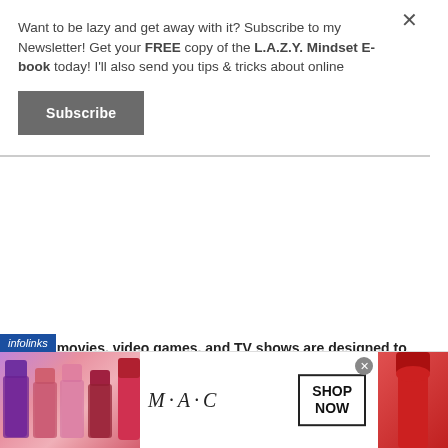Want to be lazy and get away with it? Subscribe to my Newsletter! Get your FREE copy of the L.A.Z.Y. Mindset E-book today! I'll also send you tips & tricks about online
Subscribe
All the movies, video games, and TV shows are designed to prevent the one thing your inner child wants to do: learn.
It's getting harder and harder to prevent people from having access to the entire world's knowledge base in our pockets.
So they continue to make the entertainment more an
[Figure (advertisement): M·A·C cosmetics advertisement showing lipsticks and a SHOP NOW button]
infolinks